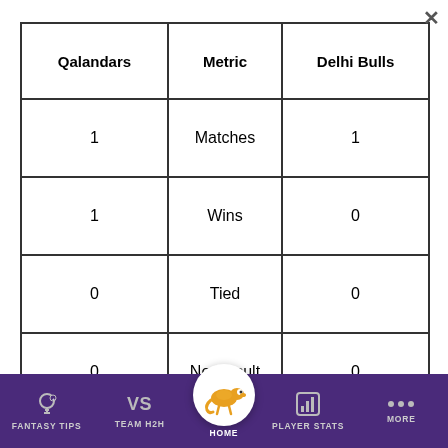| Qalandars | Metric | Delhi Bulls |
| --- | --- | --- |
| 1 | Matches | 1 |
| 1 | Wins | 0 |
| 0 | Tied | 0 |
| 0 | No Result | 0 |
FANTASY TIPS   TEAM H2H   HOME   PLAYER STATS   MORE